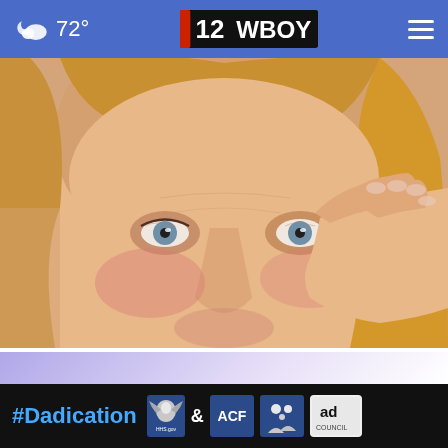72° | 12 WBOY
[Figure (photo): Close-up of a middle-aged woman with blonde hair touching/wiping the corner of her eye with her hand, looking upward. The image is used in an advertisement context.]
Doctors Stunned: This Removes Wrinkles Like Crazy
Brilliance
[Figure (infographic): Ad Council advertisement banner for #Dadication campaign featuring government agency logos including HHS, ACF, National Responsible Fatherhood Clearinghouse, and Ad Council logo on black background.]